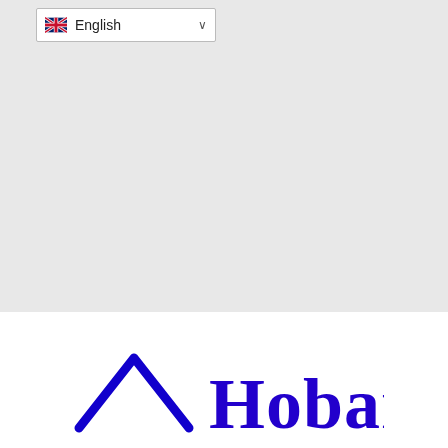[Figure (screenshot): Language selector dropdown showing UK flag and 'English' text with chevron, on a light grey background]
[Figure (logo): Hobark company logo featuring a blue house/roof chevron icon on the left and the text 'Hobark' in bold blue serif font on the right, on white background]